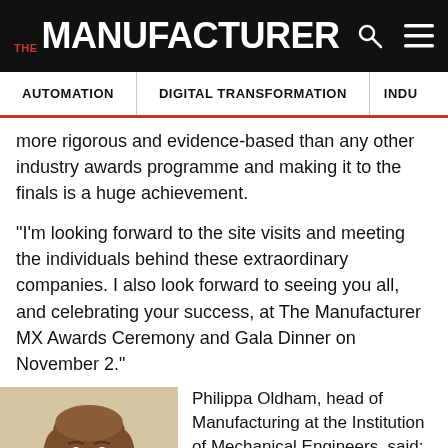THE MANUFACTURER
AUTOMATION | DIGITAL TRANSFORMATION | INDU...
more rigorous and evidence-based than any other industry awards programme and making it to the finals is a huge achievement.
“I’m looking forward to the site visits and meeting the individuals behind these extraordinary companies. I also look forward to seeing you all, and celebrating your success, at The Manufacturer MX Awards Ceremony and Gala Dinner on November 2.”
[Figure (photo): Photo of Philippa Oldham, a woman with medium-length brown hair, smiling, cropped at shoulders]
Philippa Oldham, head of Manufacturing at the Institution of Mechanical Engineers, said: “The Manufacturer MX Awards